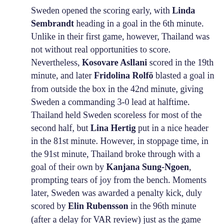Sweden opened the scoring early, with Linda Sembrandt heading in a goal in the 6th minute. Unlike in their first game, however, Thailand was not without real opportunities to score. Nevertheless, Kosovare Asllani scored in the 19th minute, and later Fridolina Rolfö blasted a goal in from outside the box in the 42nd minute, giving Sweden a commanding 3-0 lead at halftime. Thailand held Sweden scoreless for most of the second half, but Lina Hertig put in a nice header in the 81st minute. However, in stoppage time, in the 91st minute, Thailand broke through with a goal of their own by Kanjana Sung-Ngoen, prompting tears of joy from the bench. Moments later, Sweden was awarded a penalty kick, duly scored by Elin Rubensson in the 96th minute (after a delay for VAR review) just as the game ended. Sweden is guaranteed a place in the knockout stage, but Thailand took some consolation from scoring their first goal in this tournament.